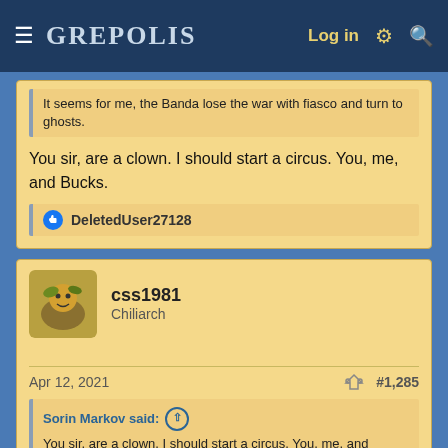GREPOLIS — Log in
It seems for me, the Banda lose the war with fiasco and turn to ghosts.
You sir, are a clown. I should start a circus. You, me, and Bucks.
DeletedUser27128
css1981
Chiliarch
Apr 12, 2021
#1,285
Sorin Markov said:
You sir, are a clown. I should start a circus. You, me, and Bucks.
Monty Phytons Flying Circus ? 😀
DeletedUser37128